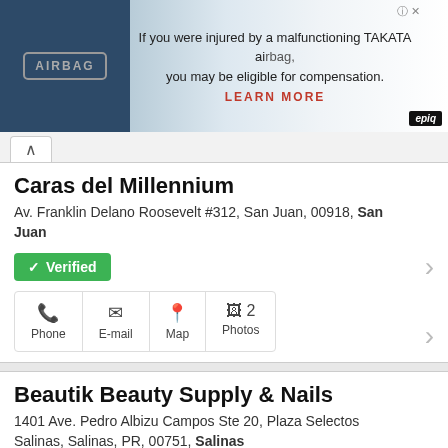[Figure (screenshot): Advertisement banner for TAKATA airbag lawsuit with airbag image on left and text on right: 'If you were injured by a malfunctioning TAKATA airbag, you may be eligible for compensation. LEARN MORE']
Caras del Millennium
Av. Franklin Delano Roosevelt #312, San Juan, 00918, San Juan
✓ Verified
Phone | E-mail | Map | 2 Photos
Beautik Beauty Supply & Nails
1401 Ave. Pedro Albizu Campos Ste 20, Plaza Selectos Salinas, Salinas, PR, 00751, Salinas
Beautik Beauty Supply & Nails, es especialista en venta de productos de belleza al por mayor y al detal, tenemos los mejores productos al mejor precio para el cuidado de tu pelo, piel y uñas. Ofrecem...
Phone | E-mail | Map